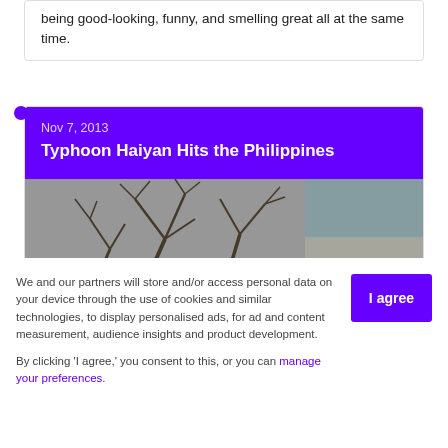being good-looking, funny, and smelling great all at the same time.
Nov 7, 2013
Typhoon Haiyan Hits the Philippines
[Figure (photo): Bare tree branches against a grey sky with buildings partially visible in background, related to Typhoon Haiyan Philippines coverage]
We and our partners will store and/or access personal data on your device through the use of cookies and similar technologies, to display personalised ads, for ad and content measurement, audience insights and product development.
By clicking 'I agree,' you consent to this, or you can manage your preferences.